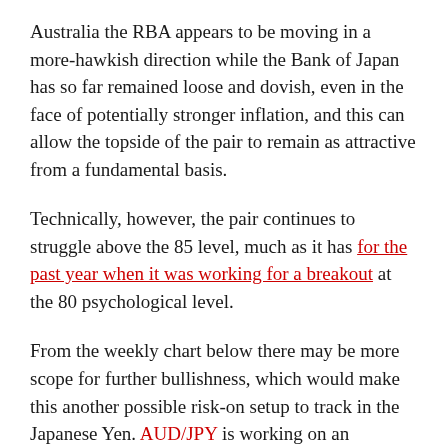Australia the RBA appears to be moving in a more-hawkish direction while the Bank of Japan has so far remained loose and dovish, even in the face of potentially stronger inflation, and this can allow the topside of the pair to remain as attractive from a fundamental basis.
Technically, however, the pair continues to struggle above the 85 level, much as it has for the past year when it was working for a breakout at the 80 psychological level.
From the weekly chart below there may be more scope for further bullishness, which would make this another possible risk-on setup to track in the Japanese Yen. AUD/JPY is working on an ascending triangle which is often approached with the aim of bullish breakouts.